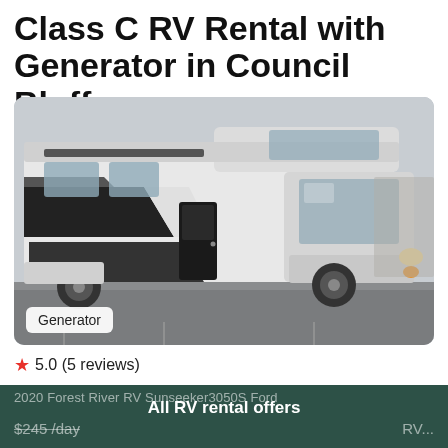Class C RV Rental with Generator in Council Bluffs
[Figure (photo): A white and black Class C RV motorhome (Forest River Sunseeker) parked in a lot, viewed from the driver's side front quarter. A 'Generator' badge is overlaid in the lower-left of the image.]
5.0 (5 reviews)
2020 Forest River RV Sunseeker3050S Ford
All RV rental offers
$245 /day
RV...